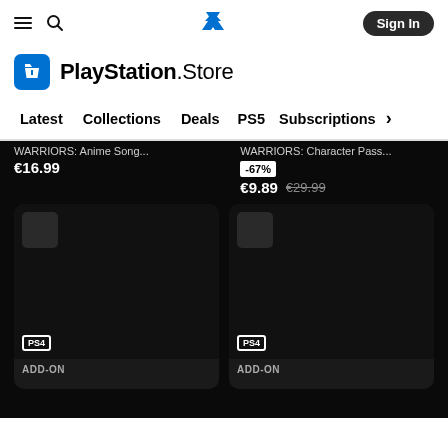PlayStation Store navigation header with hamburger menu, search icon, PlayStation logo, and Sign In button
[Figure (logo): PlayStation Store logo with shopping bag icon in blue and bold text 'PlayStation.Store']
Latest
Collections
Deals
PS5
Subscriptions
WARRIORS: Anime Song... €16.99
WARRIORS: Character Pass... -67% €9.89 €29.99
[Figure (screenshot): Two dark PlayStation Store product cards showing PS4 add-on items with small thumbnails in top-left corners and PS4 badges at bottom-left. Both labeled ADD-ON.]